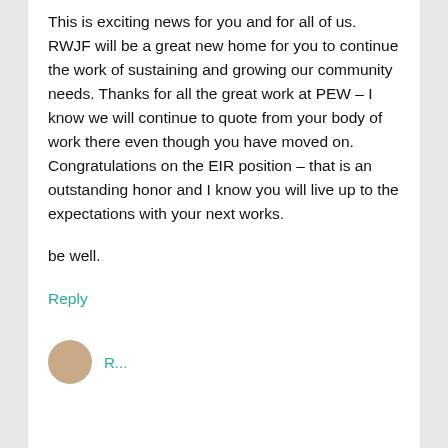This is exciting news for you and for all of us. RWJF will be a great new home for you to continue the work of sustaining and growing our community needs. Thanks for all the great work at PEW – I know we will continue to quote from your body of work there even though you have moved on. Congratulations on the EIR position – that is an outstanding honor and I know you will live up to the expectations with your next works.
be well.
Reply